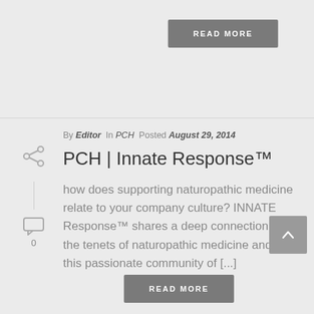READ MORE
By Editor In PCH Posted August 29, 2014
PCH | Innate Response™
how does supporting naturopathic medicine relate to your company culture? INNATE Response™ shares a deep connection with the tenets of naturopathic medicine and with this passionate community of [...]
READ MORE